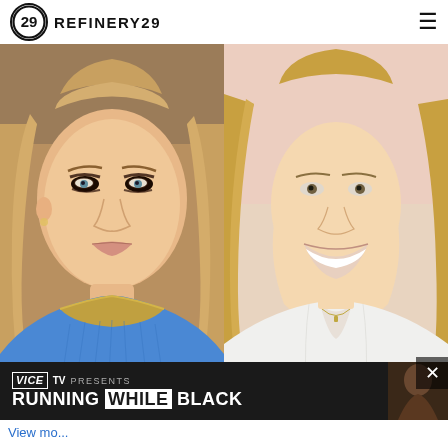REFINERY29
[Figure (photo): Two side-by-side photos of the same blonde woman (LeAnn Rimes). Left photo: heavier, wearing a blue draped top with gold neckline, heavy eye makeup. Right photo: slimmer, wearing a white button-up blouse, smiling broadly, long wavy blonde hair.]
[Figure (photo): Advertisement overlay: Vice TV Presents RUNNING WHILE BLACK, with a photo of a Black man in the lower right corner. Dark background.]
View mo...